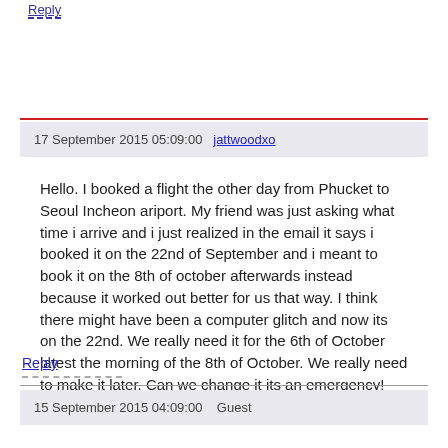Reply
17 September 2015 05:09:00   jattwoodxo
Hello. I booked a flight the other day from Phucket to Seoul Incheon ariport. My friend was just asking what time i arrive and i just realized in the email it says i booked it on the 22nd of September and i meant to book it on the 8th of october afterwards instead because it worked out better for us that way. I think there might have been a computer glitch and now its on the 22nd. We really need it for the 6th of October latest the morning of the 8th of October. We really need to make it later. Can we change it its an emergency! please help.
Reply
15 September 2015 04:09:00   Guest